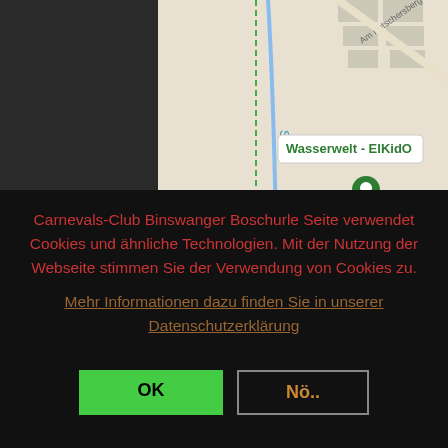[Figure (map): Google Maps view showing 'Wasserwelt - ElKidO' location with street 'Sulm' and 'Am Kutschersberg', green location pin, on a light beige/grey street map background.]
Carnevals-Club Binswanger Boschurle Seite verwendet Cookies und ähnliche Technologien. Mit der Nutzung der Webseite stimmen Sie der Verwendung von Cookies zu.
Mehr Informationen dazu finden Sie in unserer Datenschutzerklärung
OK
Nö..